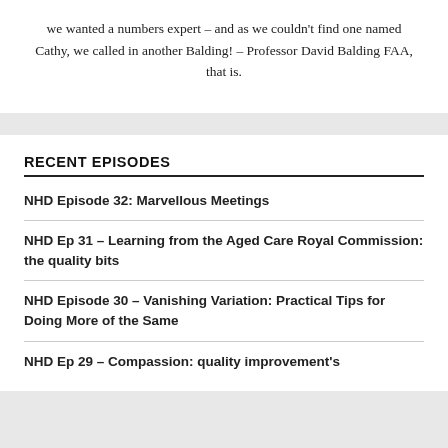we wanted a numbers expert – and as we couldn't find one named Cathy, we called in another Balding! – Professor David Balding FAA, that is.
RECENT EPISODES
NHD Episode 32: Marvellous Meetings
NHD Ep 31 – Learning from the Aged Care Royal Commission: the quality bits
NHD Episode 30 – Vanishing Variation: Practical Tips for Doing More of the Same
NHD Ep 29 – Compassion: quality improvement's